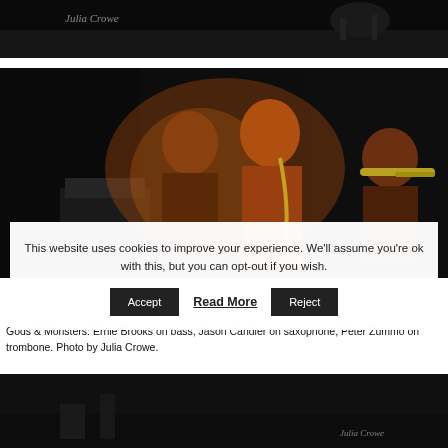[Figure (photo): Partial top photo strip showing 'Julia Crowe' watermark text over a dark concert image]
[Figure (photo): Dark concert photo showing three musicians on stage — person on left, saxophone player in center, trombonist on right, lit with warm orange stage lighting]
This website uses cookies to improve your experience. We'll assume you're ok with this, but you can opt-out if you wish.
[Figure (photo): Dark concert venue photo with 'Julia Crowe' watermark in bottom right]
Gods & Monsters: Ernie Brooks on bass, Jason Candler on saxophone, Peter Zummo on trombone. Photo by Julia Crowe.
[Figure (photo): Partial bottom photo showing green curtain backdrop at a concert venue]